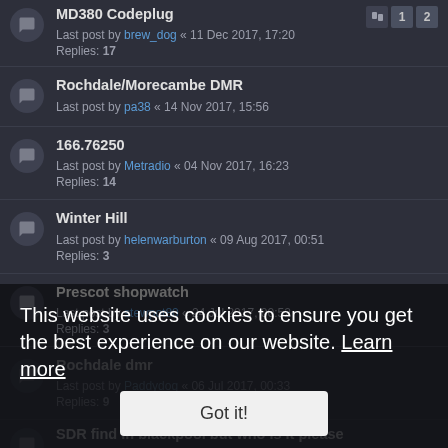MD380 Codeplug - Last post by brew_dog « 11 Dec 2017, 17:20 - Replies: 17
Rochdale/Morecambe DMR - Last post by pa38 « 14 Nov 2017, 15:56
166.76250 - Last post by Metradio « 04 Nov 2017, 16:23 - Replies: 14
Winter Hill - Last post by helenwarburton « 09 Aug 2017, 00:51 - Replies: 3
Prescot shopwatch - Last post by stewpot80 « 24 Jul 2017, 00:52 - Replies: 3
Rochdale dmr - Last post by Paddydog « 06 Jul 2017, 00:33 - Replies: 9
SDR find in blackpool but who is it please - Replies: 6
Freq found in Preston - join in with yours - Last post by Crusade... 2017, 18:0...
This website uses cookies to ensure you get the best experience on our website. Learn more
Got it!